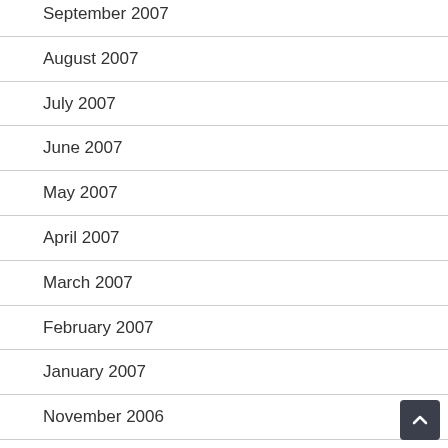September 2007
August 2007
July 2007
June 2007
May 2007
April 2007
March 2007
February 2007
January 2007
November 2006
October 2006
September 2006